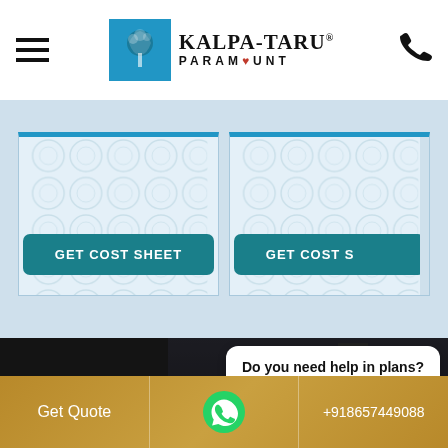[Figure (screenshot): Kalpa-Taru Paramount logo with blue tree icon and brand name]
[Figure (screenshot): Two property listing cards with 'GET COST SHEET' buttons on light blue background]
[Figure (photo): Dark background photo of high-rise residential building at dusk with promotional text overlay]
Do you need help in plans?
Premier Fest 2 BHK S...y
Only EMI ₹ 9999 PM* @Thane.
Get Quote | WhatsApp | +918657449088